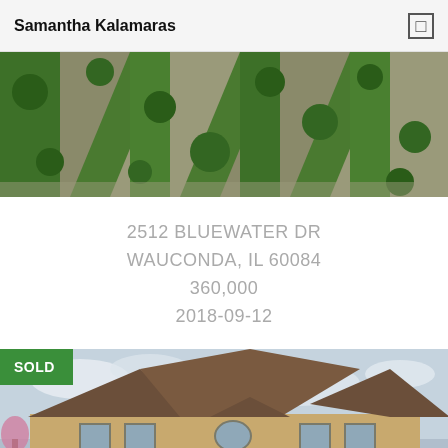Samantha Kalamaras
[Figure (photo): Aerial view of suburban street with driveways, green lawns, and trees]
2512 BLUEWATER DR
WAUCONDA, IL 60084
360,000
2018-09-12
[Figure (photo): House exterior photo with SOLD badge — large brick two-story home with dramatic roofline and arched window, overcast sky]